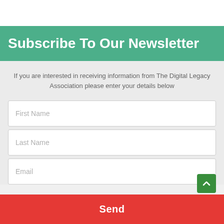Subscribe To Our Newsletter
If you are interested in receiving information from The Digital Legacy Association please enter your details below
First Name
Last Name
Email
Send